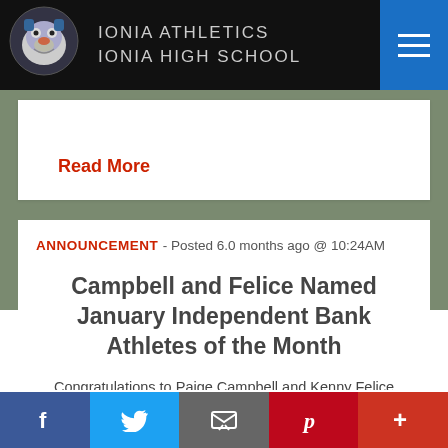IONIA ATHLETICS IONIA HIGH SCHOOL
Read More
ANNOUNCEMENT - Posted 6.0 months ago @ 10:24AM
Campbell and Felice Named January Independent Bank Athletes of the Month
Congratulations to Paige Campbell and Kenny Felice who were named Independent Bank Student-Athletes of the Month for January.  Both student-athletes were recognized by Independe
f  Twitter  Email  Pinterest  +